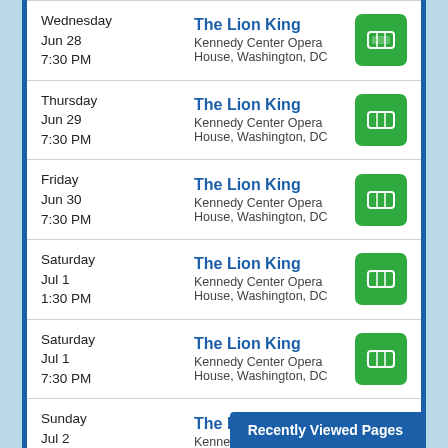| Date | Event | Ticket |
| --- | --- | --- |
| Wednesday Jun 28 7:30 PM | The Lion King
Kennedy Center Opera House, Washington, DC |  |
| Thursday Jun 29 7:30 PM | The Lion King
Kennedy Center Opera House, Washington, DC |  |
| Friday Jun 30 7:30 PM | The Lion King
Kennedy Center Opera House, Washington, DC |  |
| Saturday Jul 1 1:30 PM | The Lion King
Kennedy Center Opera House, Washington, DC |  |
| Saturday Jul 1 7:30 PM | The Lion King
Kennedy Center Opera House, Washington, DC |  |
| Sunday Jul 2 1:30 PM | The Lion King
Kennedy Center Opera House, Washington, DC |  |
| Sunday Jul ... | The Lion King |  |
Recently Viewed Pages